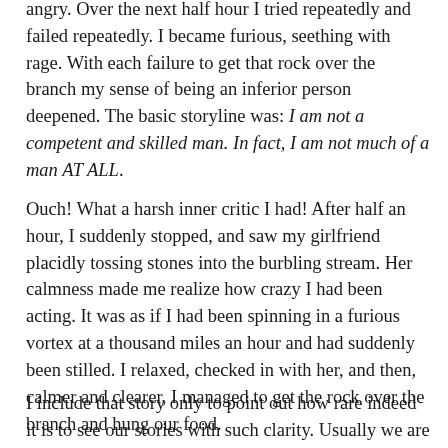angry. Over the next half hour I tried repeatedly and failed repeatedly. I became furious, seething with rage. With each failure to get that rock over the branch my sense of being an inferior person deepened. The basic storyline was: I am not a competent and skilled man. In fact, I am not much of a man AT ALL.
Ouch! What a harsh inner critic I had! After half an hour, I suddenly stopped, and saw my girlfriend placidly tossing stones into the burbling stream. Her calmness made me realize how crazy I had been acting. It was as if I had been spinning in a furious vortex at a thousand miles an hour and had suddenly been stilled. I relaxed, checked in with her, and then, calmer and clearer, I managed to get the rock over the branch and hung our food.
I include that story only to point out how rare indeed it is to see our stories with such clarity. Usually we are living our stories, not seeing them as stories.